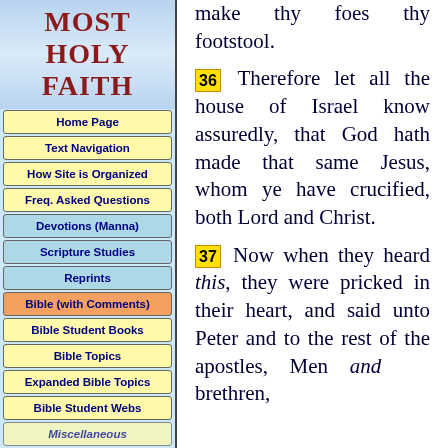MOST HOLY FAITH
Home Page
Text Navigation
How Site is Organized
Freq. Asked Questions
Devotions (Manna)
Scripture Studies
Reprints
Bible (with Comments)
Bible Student Books
Bible Topics
Expanded Bible Topics
Bible Student Webs
Miscellaneous
make thy foes thy footstool.
36 Therefore let all the house of Israel know assuredly, that God hath made that same Jesus, whom ye have crucified, both Lord and Christ.
37 Now when they heard this, they were pricked in their heart, and said unto Peter and to the rest of the apostles, Men and brethren,